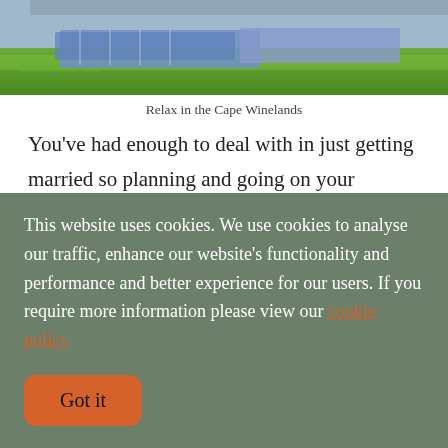[Figure (photo): Outdoor photo showing grass and what appears to be blue fabric/blankets on a lawn, Cape Winelands setting]
Relax in the Cape Winelands
You've had enough to deal with in just getting married so planning and going on your honeymoon should be stress free. Planning a safari can be a fun experience especially when you have a team behind you to guide to the best experiences and camps that also offer the most sustainable experiences. Don't be stressed about the
This website uses cookies. We use cookies to analyse our traffic, enhance our website's functionality and performance and better experience for our users. If you require more information please view our cookie policy
Got it